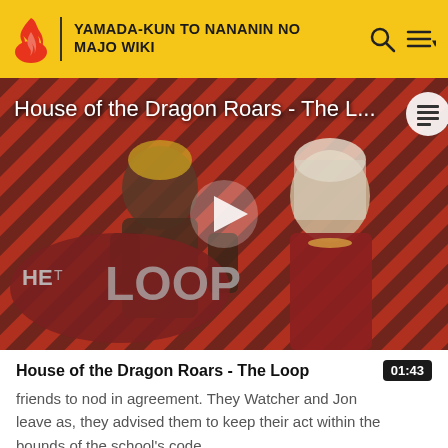YAMADA-KUN TO NANANIN NO MAJO WIKI
[Figure (screenshot): Video thumbnail for 'House of the Dragon Roars - The Loop' showing two characters from House of the Dragon against a red and black diagonal striped background with 'THE LOOP' branding logo and a play button overlay]
House of the Dragon Roars - The Loop
friends to nod in agreement. They Watcher and Jon leave as, they advised them to keep their act within the bounds of the school's code.